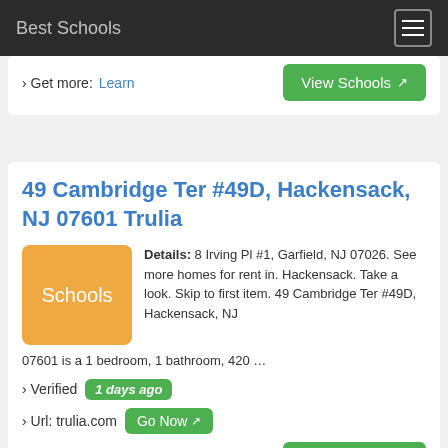Best Schools
› Get more: Learn
View Schools
49 Cambridge Ter #49D, Hackensack, NJ 07601 Trulia
Details: 8 Irving Pl #1, Garfield, NJ 07026. See more homes for rent in. Hackensack. Take a look. Skip to first item. 49 Cambridge Ter #49D, Hackensack, NJ 07601 is a 1 bedroom, 1 bathroom, 420 …
› Verified 1 days ago
› Url: trulia.com Go Now
› Get more: Schools
View Schools